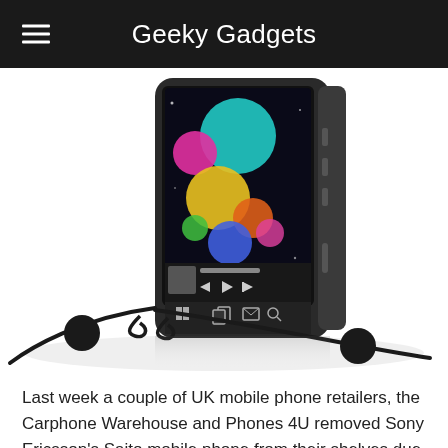Geeky Gadgets
[Figure (photo): Sony Ericsson mobile phone (Satio) displayed upright showing colorful bubbles on screen, with earphones/headset in foreground, on white background with reflection]
Last week a couple of UK mobile phone retailers, the Carphone Warehouse and Phones 4U removed Sony Ericsson's Saito mobile phone from their shelves due to a number for problems